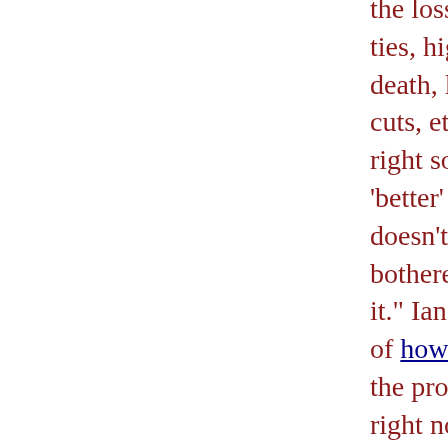the loss of close social ties, higher risks of death, lifetime wage cuts, etc., and it's all right so long as a 'better' class of people doesn't have to be bothered about causing it." Ian Welsh has a list of how to fix it, but, "... the problem in the US right now is that virtually nothing of any significance works. Not the military, who with 50% of the world military budget is being fought to a draw by ragtag militias, not the political system, and definitely not the economic system. Fixing this, fixing America, is a